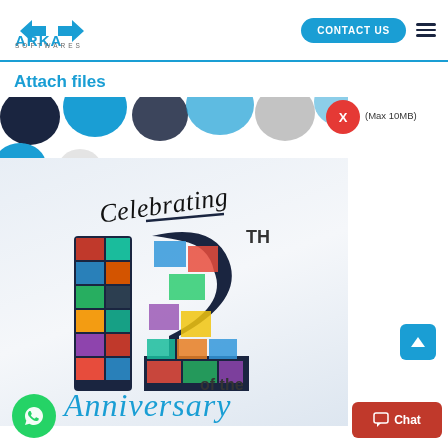[Figure (logo): ARKA SOFTWARES logo in blue with stylized arrows]
CONTACT US
Attach files
[Figure (illustration): Decorative balloons (blue, dark blue, grey, white) as background decoration]
X
(Max 10MB)
[Figure (illustration): 12th Anniversary celebration graphic with 'Celebrating' in script, large '12' filled with photo collage, 'TH' superscript, and 'Anniversary' in blue script below]
of the